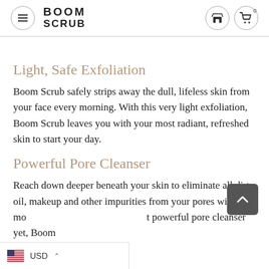BOOM SCRUB
Light, Safe Exfoliation
Boom Scrub safely strips away the dull, lifeless skin from your face every morning. With this very light exfoliation, Boom Scrub leaves you with your most radiant, refreshed skin to start your day.
Powerful Pore Cleanser
Reach down deeper beneath your skin to eliminate all dirt, oil, makeup and other impurities from your pores with the most powerful pore cleanser yet, Boom